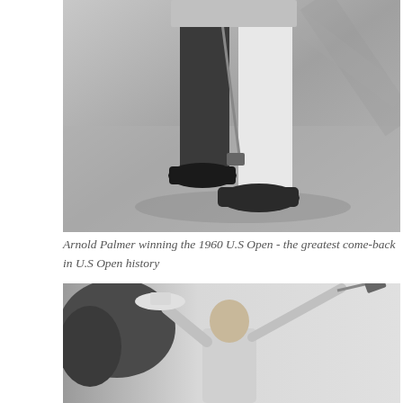[Figure (photo): Black and white photograph showing lower body of a golfer mid-swing on a golf course, wearing white trousers and dark shoes, holding a golf club, with shadows on the sandy/grassy ground.]
Arnold Palmer winning the 1960 U.S Open - the greatest come-back in U.S Open history
[Figure (photo): Black and white photograph of a golfer (viewed from chest up) raising a hat in the air with one hand and holding a golf club aloft with the other hand, with trees visible in the background.]